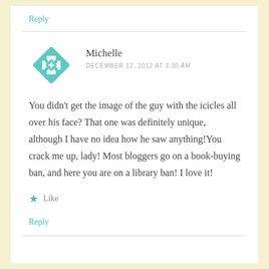Reply
[Figure (illustration): Teal/turquoise geometric quilt-pattern avatar icon for user Michelle]
Michelle
DECEMBER 12, 2012 AT 3:30 AM
You didn't get the image of the guy with the icicles all over his face? That one was definitely unique, although I have no idea how he saw anything!You crack me up, lady! Most bloggers go on a book-buying ban, and here you are on a library ban! I love it!
Like
Reply